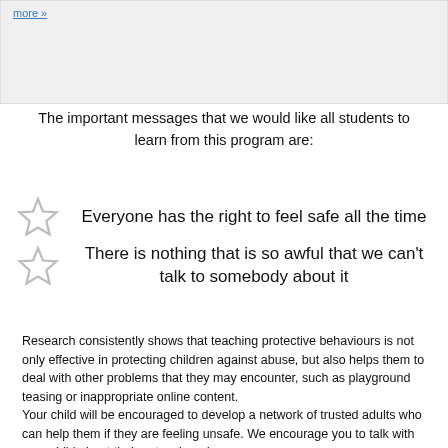more »
The important messages that we would like all students to learn from this program are:
Everyone has the right to feel safe all the time
There is nothing that is so awful that we can't talk to somebody about it
Research consistently shows that teaching protective behaviours is not only effective in protecting children against abuse, but also helps them to deal with other problems that they may encounter, such as playground teasing or inappropriate online content. Your child will be encouraged to develop a network of trusted adults who can help them if they are feeling unsafe. We encourage you to talk with your child about their network and